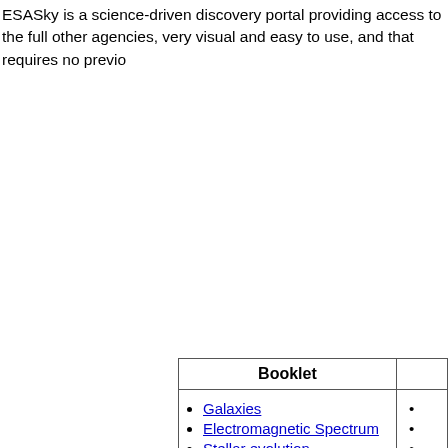ESASky is a science-driven discovery portal providing access to the full other agencies, very visual and easy to use, and that requires no previo...
| Booklet |  |
| --- | --- |
| • Galaxies
• Electromagnetic Spectrum
• Stellar evolution | •
•
• |